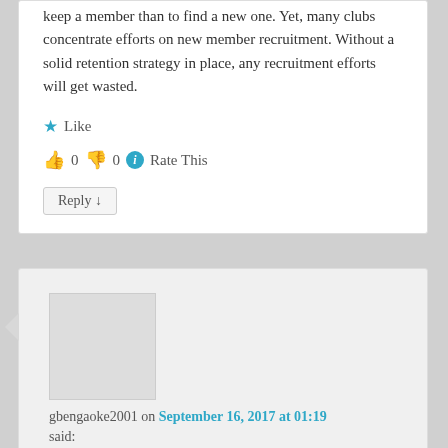keep a member than to find a new one. Yet, many clubs concentrate efforts on new member recruitment. Without a solid retention strategy in place, any recruitment efforts will get wasted.
★ Like
👍 0 👎 0 ℹ Rate This
Reply ↓
gbengaoke2001 on September 16, 2017 at 01:19 said:
Very good and innovative ideas to retaining members. Club need to think out of the box and be more creative with ideas that will make their